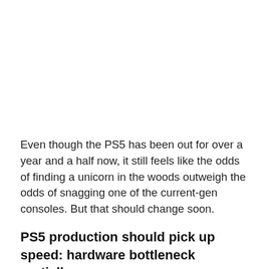Even though the PS5 has been out for over a year and a half now, it still feels like the odds of finding a unicorn in the woods outweigh the odds of snagging one of the current-gen consoles. But that should change soon.
PS5 production should pick up speed: hardware bottleneck partially overcome
Thanks to the corona crisis and many other factors, not